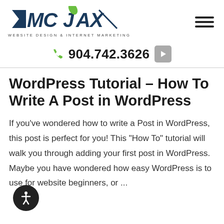[Figure (logo): DMCJAX Website Design & Internet Marketing logo with teal/navy bold italic text and green leaf accent]
✆ 904.742.3626
WordPress Tutorial – How To Write A Post in WordPress
If you've wondered how to write a Post in WordPress, this post is perfect for you! This "How To" tutorial will walk you through adding your first post in WordPress. Maybe you have wondered how easy WordPress is to use for website beginners, or ...